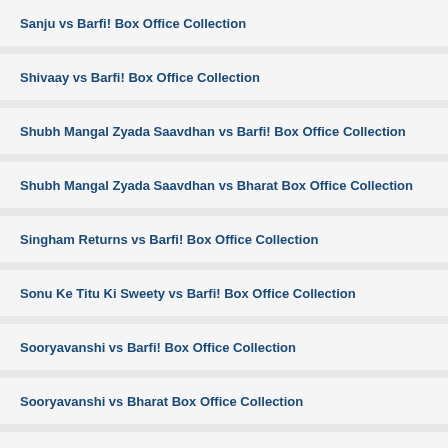Sanju vs Barfi! Box Office Collection
Shivaay vs Barfi! Box Office Collection
Shubh Mangal Zyada Saavdhan vs Barfi! Box Office Collection
Shubh Mangal Zyada Saavdhan vs Bharat Box Office Collection
Singham Returns vs Barfi! Box Office Collection
Sonu Ke Titu Ki Sweety vs Barfi! Box Office Collection
Sooryavanshi vs Barfi! Box Office Collection
Sooryavanshi vs Bharat Box Office Collection
Street Dancer 3D vs Barfi! Box Office Collection